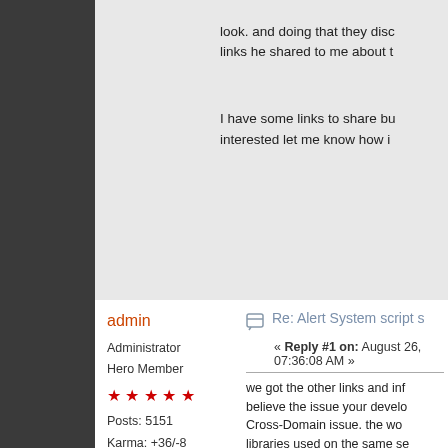look. and doing that they disc links he shared to me about t
I have some links to share bu interested let me know how i
admin
Administrator
Hero Member
Posts: 5151
Karma: +36/-8
Re: Alert System script s
« Reply #1 on: August 26, 07:36:08 AM »
we got the other links and inf believe the issue your develo Cross-Domain issue.  the wo libraries used on the same se include jquery.min.js and sen from our server and placed o be pointed to Microsoft's CDN
best regards
ADMIN
« Last Edit: August 26, 2019, 12...